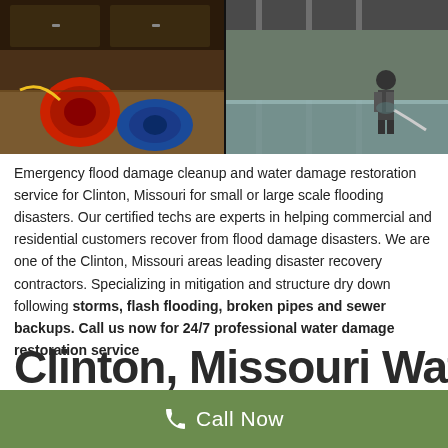[Figure (photo): Two side-by-side photos: left shows a water-damaged room with red and blue industrial fans/blowers on the floor with dark cabinets; right shows a flooded interior space with a worker in protective gear using equipment to remove water.]
Emergency flood damage cleanup and water damage restoration service for Clinton, Missouri for small or large scale flooding disasters. Our certified techs are experts in helping commercial and residential customers recover from flood damage disasters. We are one of the Clinton, Missouri areas leading disaster recovery contractors. Specializing in mitigation and structure dry down following storms, flash flooding, broken pipes and sewer backups. Call us now for 24/7 professional water damage restoration service
Clinton, Missouri Water...
Call Now